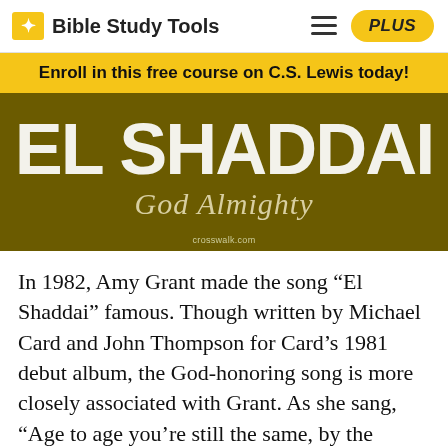Bible Study Tools
Enroll in this free course on C.S. Lewis today!
[Figure (photo): Dark olive/golden background with large bold white text 'EL SHADDAI' and italic script text 'God Almighty' below, crosswalk.com credit at bottom]
In 1982, Amy Grant made the song “El Shaddai” famous. Though written by Michael Card and John Thompson for Card’s 1981 debut album, the God-honoring song is more closely associated with Grant. As she sang, “Age to age you’re still the same, by the power of the name,” she magnified God Almighty—the symbol of “El Shaddai.”